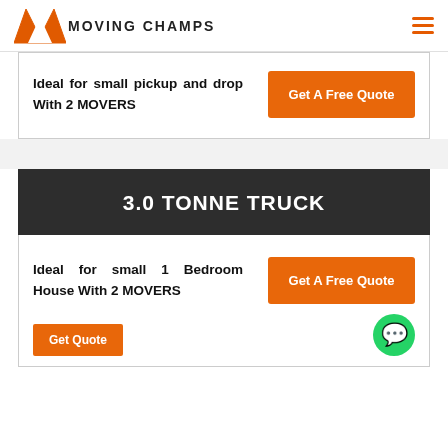[Figure (logo): Moving Champs logo with orange M shape and text MOVING CHAMPS]
Ideal for small pickup and drop With 2 MOVERS
Get A Free Quote
3.0 TONNE TRUCK
Ideal for small 1 Bedroom House With 2 MOVERS
Get A Free Quote
Get Quote